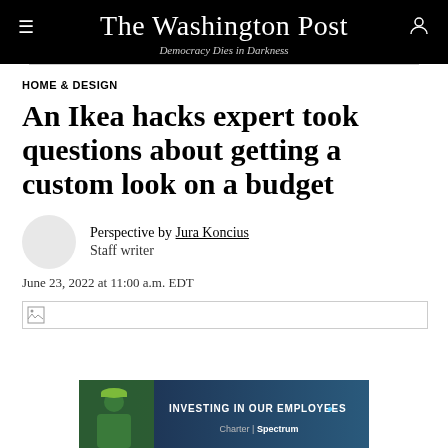The Washington Post — Democracy Dies in Darkness
HOME & DESIGN
An Ikea hacks expert took questions about getting a custom look on a budget
Perspective by Jura Koncius
Staff writer
June 23, 2022 at 11:00 a.m. EDT
[Figure (photo): Article hero image placeholder (broken/loading image)]
[Figure (photo): Advertisement banner: Charter Spectrum — INVESTING IN OUR EMPLOYEES with worker in green safety vest]